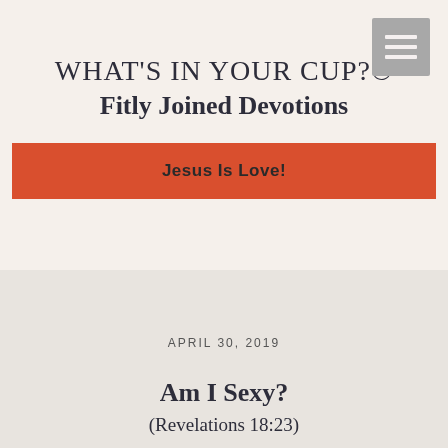[Figure (other): Hamburger menu icon (three horizontal lines) in a gray square, top right corner]
WHAT'S IN YOUR CUP?©
Fitly Joined Devotions
Jesus Is Love!
APRIL 30, 2019
Am I Sexy?
(Revelations 18:23)